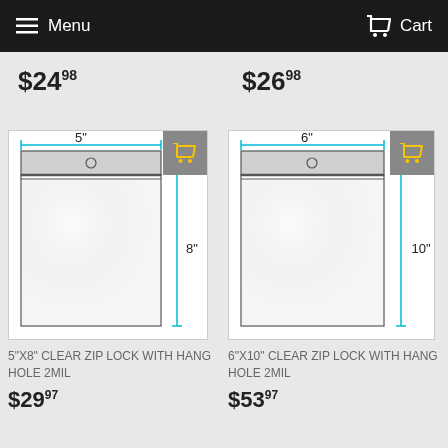Menu   Cart
$24.98
$26.98
[Figure (illustration): Engineering diagram of a 5"x8" clear zip lock bag with hang hole, showing width dimension of 5" and height dimension of 8"]
5"x8" CLEAR ZIP LOCK WITH HANG HOLE 2Mil
$29.97
[Figure (illustration): Engineering diagram of a 6"x10" clear zip lock bag with hang hole, showing width dimension of 6" and height dimension of 10"]
6"x10" CLEAR ZIP LOCK WITH HANG HOLE 2Mil
$53.97